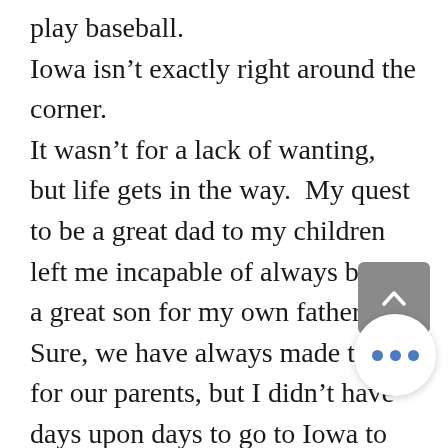play baseball.
Iowa isn't exactly right around the corner.
It wasn't for a lack of wanting, but life gets in the way.  My quest to be a great dad to my children left me incapable of always being a great son for my own father.  Sure, we have always made time for our parents, but I didn't have days upon days to go to Iowa to play ball.  As nice of an idea as that was, it just didn't happen.
Years ago, my dad and I started a tradition of always having a catch on Father's Day.  I love this.  In a way, we have made, through this activity, my backyard our own field of dreams.
And that, I reasoned, was the close we'd ever get to the real thing.